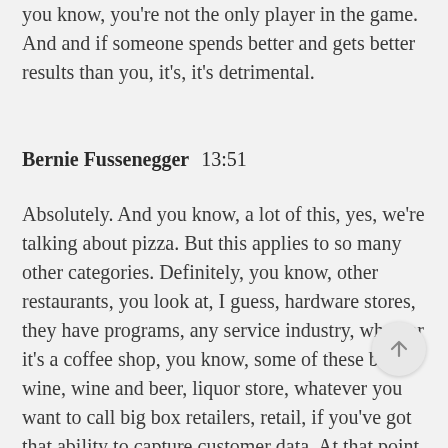you know, you're not the only player in the game. And and if someone spends better and gets better results than you, it's, it's detrimental.
Bernie Fussenegger  13:51
Absolutely. And you know, a lot of this, yes, we're talking about pizza. But this applies to so many other categories. Definitely, you know, other restaurants, you look at, I guess, hardware stores, they have programs, any service industry, whether it's a coffee shop, you know, some of these big wine, wine and beer, liquor store, whatever you want to call big box retailers, retail, if you've got that ability to capture customer data. At that point, you know, you've got the